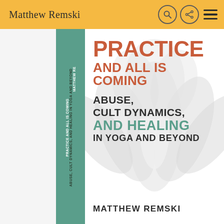Matthew Remski
[Figure (photo): Book cover for 'Practice and All Is Coming: Abuse, Cult Dynamics, and Healing in Yoga and Beyond' by Matthew Remski. Shows a white lotus flower background with the title in terracotta/red and teal lettering, and the book spine in teal.]